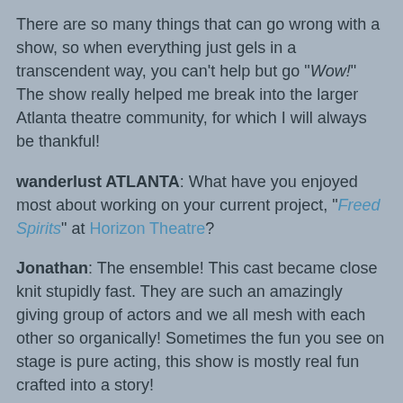There are so many things that can go wrong with a show, so when everything just gels in a transcendent way, you can't help but go "Wow!" The show really helped me break into the larger Atlanta theatre community, for which I will always be thankful!
wanderlust ATLANTA: What have you enjoyed most about working on your current project, "Freed Spirits" at Horizon Theatre?
Jonathan: The ensemble! This cast became close knit stupidly fast. They are such an amazingly giving group of actors and we all mesh with each other so organically! Sometimes the fun you see on stage is pure acting, this show is mostly real fun crafted into a story!
wanderlust ATLANTA: "Freed Spirits" is your Horizon Theatre debut. What have you enjoyed most about the experience so far?
Jonathan: I was brought on to read my character—Byron—for a twenty-minute presentation at the Decatur Book